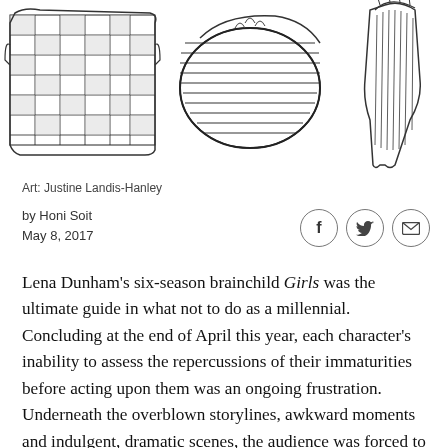[Figure (illustration): Three pen-and-ink sketch illustrations side by side: left shows a textured armchair or sofa with a checkered/grid pattern, center shows a rounded sofa or cushioned furniture piece with horizontal stripes, right shows a partial figure or furniture sketch with vertical lines.]
Art: Justine Landis-Hanley
by Honi Soit
May 8, 2017
Lena Dunham's six-season brainchild Girls was the ultimate guide in what not to do as a millennial. Concluding at the end of April this year, each character's inability to assess the repercussions of their immaturities before acting upon them was an ongoing frustration. Underneath the overblown storylines, awkward moments and indulgent, dramatic scenes, the audience was forced to make peace with and reflect on their own flaws, confront their shortcomings, and reckon with the expectations